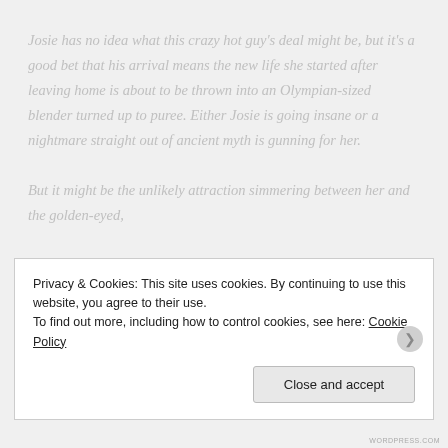Josie has no idea what this crazy hot guy's deal might be, but it's a good bet that his arrival means the new life she started after leaving home is about to be thrown into an Olympian-sized blender turned up to puree. Either Josie is going insane or a nightmare straight out of ancient myth is gunning for her.

But it might be the unlikely attraction simmering between her and the golden-eyed,
Privacy & Cookies: This site uses cookies. By continuing to use this website, you agree to their use.
To find out more, including how to control cookies, see here: Cookie Policy
Close and accept